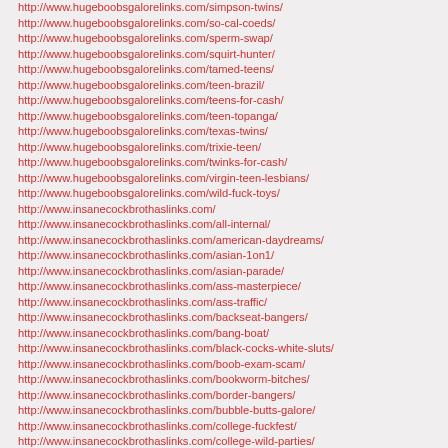http://www.hugeboobsgalorelinks.com/simpson-twins/
http://www.hugeboobsgalorelinks.com/so-cal-coeds/
http://www.hugeboobsgalorelinks.com/sperm-swap/
http://www.hugeboobsgalorelinks.com/squirt-hunter/
http://www.hugeboobsgalorelinks.com/tamed-teens/
http://www.hugeboobsgalorelinks.com/teen-brazil/
http://www.hugeboobsgalorelinks.com/teens-for-cash/
http://www.hugeboobsgalorelinks.com/teen-topanga/
http://www.hugeboobsgalorelinks.com/texas-twins/
http://www.hugeboobsgalorelinks.com/trixie-teen/
http://www.hugeboobsgalorelinks.com/twinks-for-cash/
http://www.hugeboobsgalorelinks.com/virgin-teen-lesbians/
http://www.hugeboobsgalorelinks.com/wild-fuck-toys/
http://www.insanecockbrothaslinks.com/
http://www.insanecockbrothaslinks.com/all-internal/
http://www.insanecockbrothaslinks.com/american-daydreams/
http://www.insanecockbrothaslinks.com/asian-1on1/
http://www.insanecockbrothaslinks.com/asian-parade/
http://www.insanecockbrothaslinks.com/ass-masterpiece/
http://www.insanecockbrothaslinks.com/ass-traffic/
http://www.insanecockbrothaslinks.com/backseat-bangers/
http://www.insanecockbrothaslinks.com/bang-boat/
http://www.insanecockbrothaslinks.com/black-cocks-white-sluts/
http://www.insanecockbrothaslinks.com/boob-exam-scam/
http://www.insanecockbrothaslinks.com/bookworm-bitches/
http://www.insanecockbrothaslinks.com/border-bangers/
http://www.insanecockbrothaslinks.com/bubble-butts-galore/
http://www.insanecockbrothaslinks.com/college-fuckfest/
http://www.insanecockbrothaslinks.com/college-wild-parties/
http://www.insanecockbrothaslinks.com/couples-seduce-teens/
http://www.insanecockbrothaslinks.com/diary-of-a-milf/
http://www.insanecockbrothaslinks.com/dirty-latina-maids/
http://www.insanecockbrothaslinks.com/fast-times-at-nau/
http://www.insanecockbrothaslinks.com/first-time-swallows/
http://www.insanecockbrothaslinks.com/ftv-girls/
http://www.insanecockbrothaslinks.com/gangbang-squad/
http://www.insanecockbrothaslinks.com/gay-blind-date-sex/